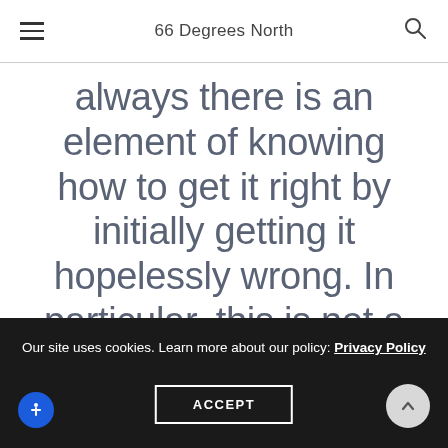66 Degrees North
always there is an element of knowing how to get it right by initially getting it hopelessly wrong. In particular, this is not a safe place without engaging locals, because the ground underneath, much like
Our site uses cookies. Learn more about our policy: Privacy Policy
ACCEPT